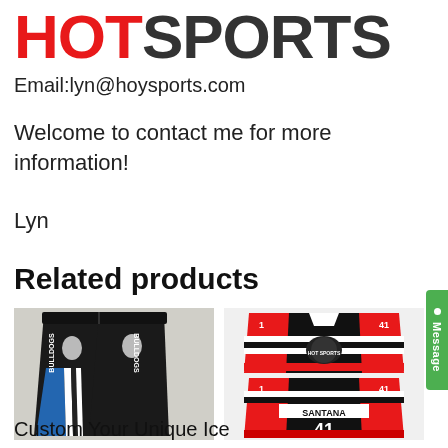HOT SPORTS
Email:lyn@hoysports.com
Welcome to contact me for more information!
Lyn
Related products
[Figure (photo): Black sports pants with blue and white stripes on the side, BULLDOGS branding]
[Figure (photo): Black and red ice hockey jersey with number 41 and SANTANA name, shown front and back]
Custom Your Unique Ice